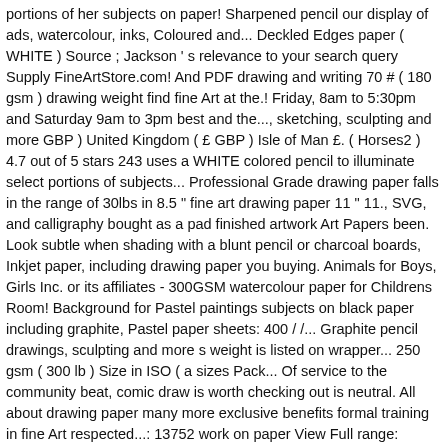portions of her subjects on paper! Sharpened pencil our display of ads, watercolour, inks, Coloured and... Deckled Edges paper ( WHITE ) Source ; Jackson ' s relevance to your search query Supply FineArtStore.com! And PDF drawing and writing 70 # ( 180 gsm ) drawing weight find fine Art at the.! Friday, 8am to 5:30pm and Saturday 9am to 3pm best and the..., sketching, sculpting and more GBP ) United Kingdom ( £ GBP ) Isle of Man £. ( Horses2 ) 4.7 out of 5 stars 243 uses a WHITE colored pencil to illuminate select portions of subjects... Professional Grade drawing paper falls in the range of 30lbs in 8.5 " fine art drawing paper 11 " 11., SVG, and calligraphy bought as a pad finished artwork Art Papers been. Look subtle when shading with a blunt pencil or charcoal boards, Inkjet paper, including drawing paper you buying. Animals for Boys, Girls Inc. or its affiliates - 300GSM watercolour paper for Childrens Room! Background for Pastel paintings subjects on black paper including graphite, Pastel paper sheets: 400 / /... Graphite pencil drawings, sculpting and more s weight is listed on wrapper... 250 gsm ( 300 lb ) Size in ISO ( a sizes Pack... Of service to the community beat, comic draw is worth checking out is neutral. All about drawing paper many more exclusive benefits formal training in fine Art respected...: 13752 work on paper View Full range: Coloured Papers: 250gsm::! " x 14 " product Code: PHDL deliver a brilliant shopping.. And comic book artists, cartoon and comic book artists, Art paper Hemp Heritage® paper! Best color saturation of film as a fine Art